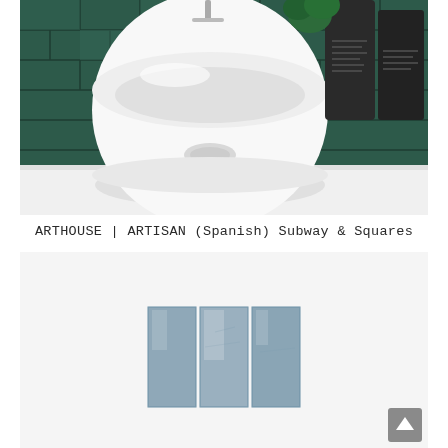[Figure (photo): A round white ceramic vessel sink on a white countertop against a dark green glossy subway tile wall backsplash. Dark glass/ceramic bottles with labels are visible in the upper right corner.]
ARTHOUSE | ARTISAN (Spanish) Subway & Squares
[Figure (photo): A partial view of gray/blue artisan subway tiles arranged in a stack bond pattern, shown against a white background. The tiles have a glossy, slightly varied surface texture.]